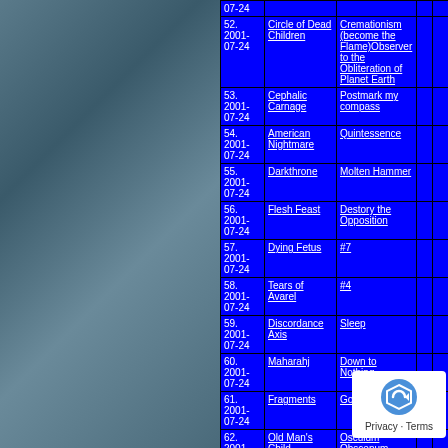| #/Date | Band | Album |  |  |
| --- | --- | --- | --- | --- |
| 07-24 |  |  |  |  |
| 52. 2001-07-24 | Circle of Dead Children | Cremationism (become the Flame)Observer to the Obliteration of Planet Earth |  |  |
| 53. 2001-07-24 | Cephalic Carnage | Postmark my compass |  |  |
| 54. 2001-07-24 | American Nightmare | Quintessence |  |  |
| 55. 2001-07-24 | Darkthrone | Molten Hammer |  |  |
| 56. 2001-07-24 | Flesh Feast | Destory the Opposition |  |  |
| 57. 2001-07-24 | Dying Fetus | #7 |  |  |
| 58. 2001-07-24 | Tears of Avarel | #4 |  |  |
| 59. 2001-07-24 | Discordance Axis | Sleep |  |  |
| 60. 2001-07-24 | Maharahj | Down to Nothing |  |  |
| 61. 2001-07-24 | Fragments | Gods of Impiety |  |  |
| 62. 2001-07-24 | Old Man's Child | Osculum Obscenum |  |  |